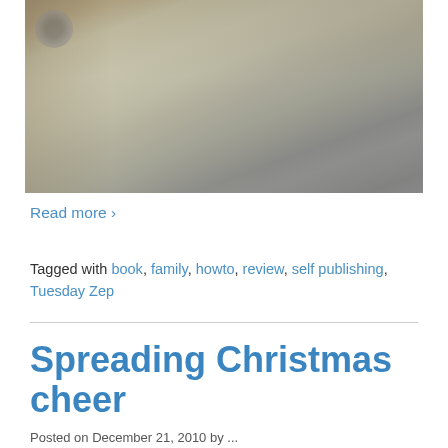[Figure (photo): Close-up photograph of the corner of a book or box, showing aged paper/cardboard texture in beige/grey tones on a light grey background, with a circular emblem visible on the left spine.]
Read more ›
Tagged with book, family, howto, review, self publishing, Tuesday Zep
Spreading Christmas cheer
Posted on December 21, 2010 by ...